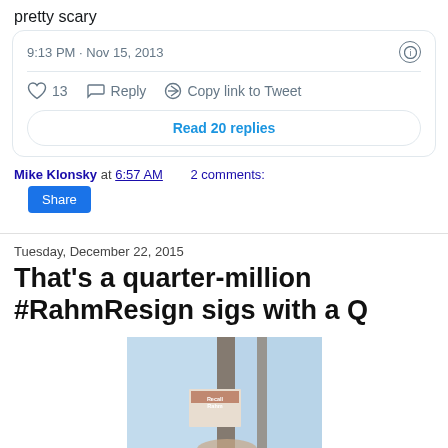pretty scary
9:13 PM · Nov 15, 2013
13  Reply  Copy link to Tweet
Read 20 replies
Mike Klonsky at 6:57 AM    2 comments:
Share
Tuesday, December 22, 2015
That's a quarter-million #RahmResign sigs with a Q
[Figure (photo): A photo showing a sign or poster related to RahmResign visible through glass windows]